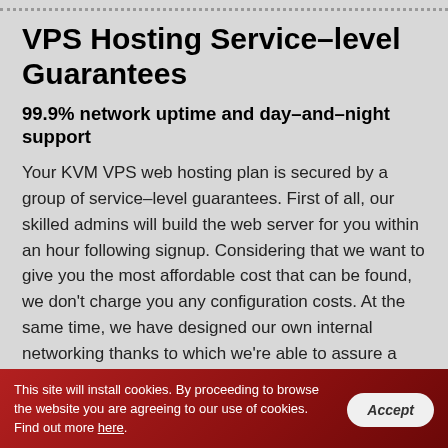VPS Hosting Service–level Guarantees
99.9% network uptime and day–and–night support
Your KVM VPS web hosting plan is secured by a group of service–level guarantees. First of all, our skilled admins will build the web server for you within an hour following signup. Considering that we want to give you the most affordable cost that can be found, we don't charge you any configuration costs. At the same time, we have designed our own internal networking thanks to which we're able to assure a 99.9% system uptime for your VPS. You can
This site will install cookies. By proceeding to browse the website you are agreeing to our use of cookies. Find out more here. Accept